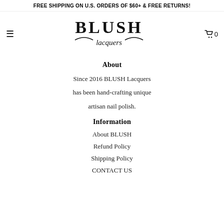FREE SHIPPING ON U.S. ORDERS OF $60+ & FREE RETURNS!
[Figure (logo): BLUSH Lacquers logo with decorative script text and swirl]
About
Since 2016 BLUSH Lacquers has been hand-crafting unique artisan nail polish.
Information
About BLUSH
Refund Policy
Shipping Policy
CONTACT US